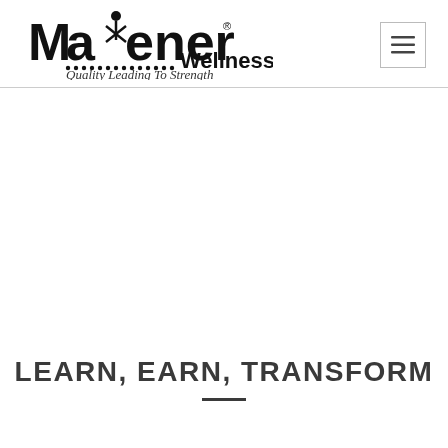Maxener Wellness — Quality Leading To Strength
[Figure (logo): Maxener Wellness logo with stylized text and tagline 'Quality Leading To Strength']
LEARN, EARN, TRANSFORM